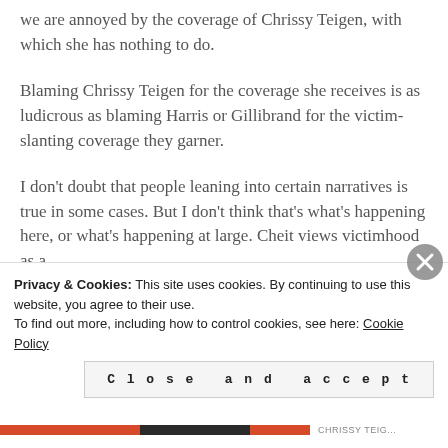we are annoyed by the coverage of Chrissy Teigen, with which she has nothing to do.
Blaming Chrissy Teigen for the coverage she receives is as ludicrous as blaming Harris or Gillibrand for the victim-slanting coverage they garner.
I don't doubt that people leaning into certain narratives is true in some cases. But I don't think that's what's happening here, or what's happening at large. Cheit views victimhood as a
Privacy & Cookies: This site uses cookies. By continuing to use this website, you agree to their use. To find out more, including how to control cookies, see here: Cookie Policy
Close and accept